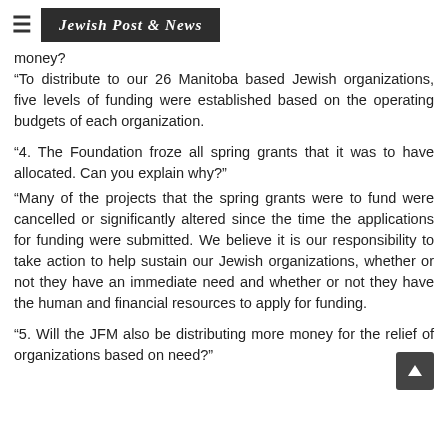Jewish Post & News
money?
“To distribute to our 26 Manitoba based Jewish organizations, five levels of funding were established based on the operating budgets of each organization.
“4. The Foundation froze all spring grants that it was to have allocated. Can you explain why?” “Many of the projects that the spring grants were to fund were cancelled or significantly altered since the time the applications for funding were submitted. We believe it is our responsibility to take action to help sustain our Jewish organizations, whether or not they have an immediate need and whether or not they have the human and financial resources to apply for funding.
“5. Will the JFM also be distributing more money for the relief of organizations based on need?”